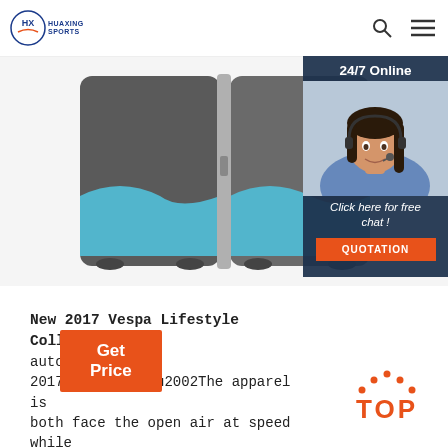HUAXING SPORTS — Search | Menu
[Figure (photo): Product photo of a grey and blue sports bag/case, close-up showing zipper and teal/blue fabric panels against white background. Also includes a 24/7 Online customer service overlay with a woman wearing a headset and buttons for 'Click here for free chat' and 'QUOTATION'.]
New 2017 Vespa Lifestyle Collection R... autoevolution 2017-5-30u2002·u2002The apparel is both face the open air at speed while adapted for everyday use once off the saddle. The Vespa Lifestyle 2017 collection's centerpiece is ...
Get Price
[Figure (logo): TOP logo in orange with dotted arc above the text]